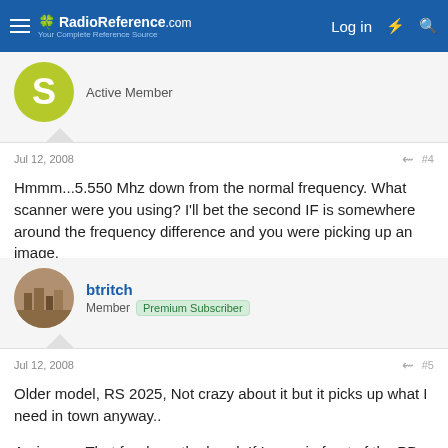RadioReference.com — Log in
Active Member
Jul 12, 2008
#4
Hmmm...5.550 Mhz down from the normal frequency. What scanner were you using? I'll bet the second IF is somewhere around the frequency difference and you were picking up an image.
btritch
Member  Premium Subscriber
Jul 12, 2008
#5
Older model, RS 2025, Not crazy about it but it picks up what I need in town anyway..

An image, That far down the band, If I were in front of the PD